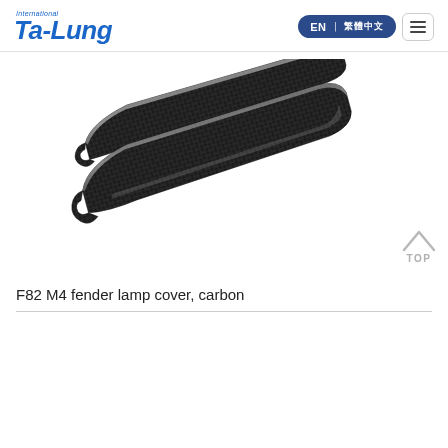Ta-Lung International — EN | 繁體中文
[Figure (photo): Two carbon fiber F82 M4 fender lamp covers shown at an angle, displaying the woven carbon fiber texture with silvery edge highlights. Parts are elongated, tapered pieces.]
F82 M4 fender lamp cover, carbon